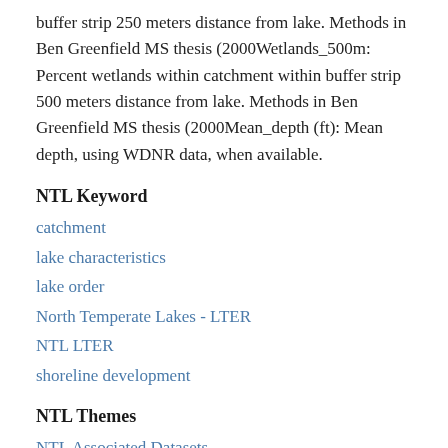buffer strip 250 meters distance from lake. Methods in Ben Greenfield MS thesis (2000Wetlands_500m: Percent wetlands within catchment within buffer strip 500 meters distance from lake. Methods in Ben Greenfield MS thesis (2000Mean_depth (ft): Mean depth, using WDNR data, when available.
NTL Keyword
catchment
lake characteristics
lake order
North Temperate Lakes - LTER
NTL LTER
shoreline development
NTL Themes
NTL Associated Datasets
Landscape Position